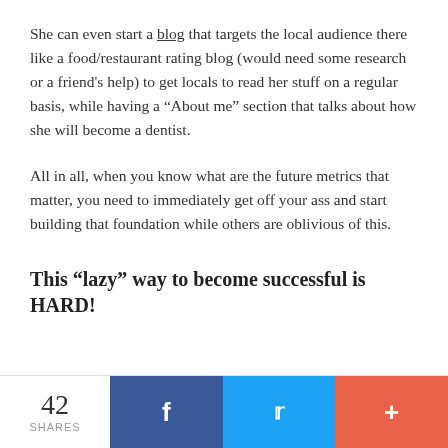She can even start a blog that targets the local audience there like a food/restaurant rating blog (would need some research or a friend's help) to get locals to read her stuff on a regular basis, while having a “About me” section that talks about how she will become a dentist.
All in all, when you know what are the future metrics that matter, you need to immediately get off your ass and start building that foundation while others are oblivious of this.
This “lazy” way to become successful is HARD!
42 SHARES | Facebook | Twitter | +